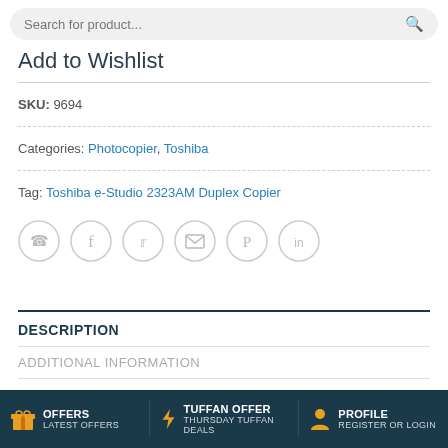Search for product...
Add to Wishlist
SKU: 9694
Categories: Photocopier, Toshiba
Tag: Toshiba e-Studio 2323AM Duplex Copier
[Figure (infographic): Six social sharing icons in circles: WhatsApp, Facebook, Twitter, Email, Pinterest, LinkedIn]
DESCRIPTION
ADDITIONAL INFORMATION
REVIEWS (0)
OFFERS LATEST OFFERS | TUFFAN OFFER THURSDAY TUFFAN DEALS | PROFILE REGISTER OR LOGIN